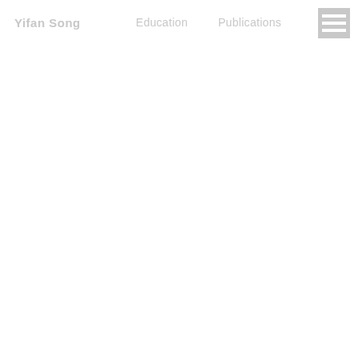Yifan Song
Education   Publications
[Figure (other): Hamburger menu icon with three white horizontal lines on a light gray square background]